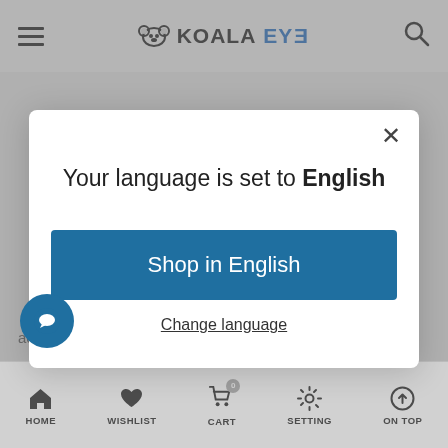KOALAEYE
[Figure (screenshot): Language selection modal dialog on KoalaEye website showing 'Your language is set to English' with a 'Shop in English' button and 'Change language' link]
Your language is set to English
Shop in English
Change language
according to the strength of the sun.
HOME   WISHLIST   CART   SETTING   ON TOP